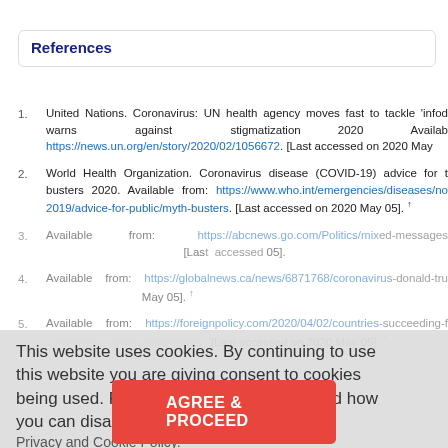References
1. United Nations. Coronavirus: UN health agency moves fast to tackle 'infodemic' warns against stigmatization 2020 Available https://news.un.org/en/story/2020/02/1056672. [Last accessed on 2020 May
2. World Health Organization. Coronavirus disease (COVID-19) advice for the public: myth-busters 2020. Available from: https://www.who.int/emergencies/diseases/novel-coronavirus-2019/advice-for-public/myth-busters. [Last accessed on 2020 May 05]. ↑
3. Available from: https://abcnews.go.com/Politics/mixed-messages [Last accessed on 05].
4. Available from: https://globalnews.ca/news/6871768/coronavirus-donald-tru... [Last accessed on 2020 May 05]. ↑
5. Available from: https://foreignpolicy.com/2020/04/02/countries-succeeding-f coronavirus-testing-quarantine/. [Last accessed on 2020 May 05]. ↑
This website uses cookies. By continuing to use this website you are giving consent to cookies being used. For information on cookies and how you can disable them visit our Privacy and Cookie Policy.
AGREE & PROCEED